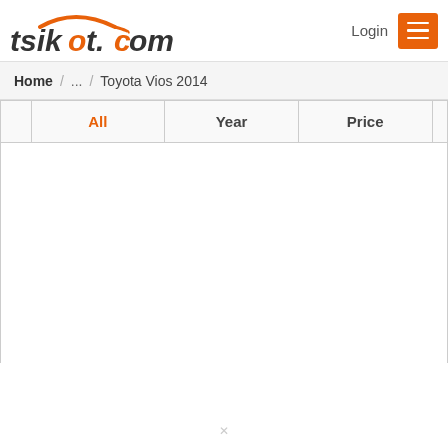tsikot.com — Login menu
Home / ... / Toyota Vios 2014
|  | All | Year | Price |  |
| --- | --- | --- | --- | --- |